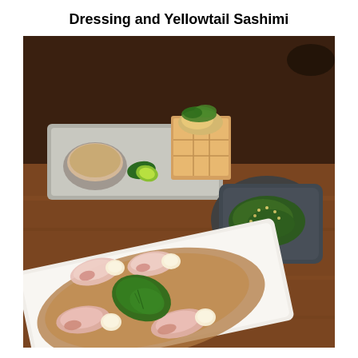Dressing and Yellowtail Sashimi
[Figure (photo): A restaurant dish presentation showing yellowtail sashimi slices arranged on a white rectangular plate with a brown dipping sauce, garnished with green shiso leaves and garlic slices. In the background, a long rectangular plate holds a small round bowl with pinkish dipping sauce, a lime wedge, and a wooden box container with tempura-style food garnished with green herbs. To the right, a dark grey plate holds a green vegetable side dish sprinkled with sesame seeds. All dishes are arranged on a warm-toned wooden table.]